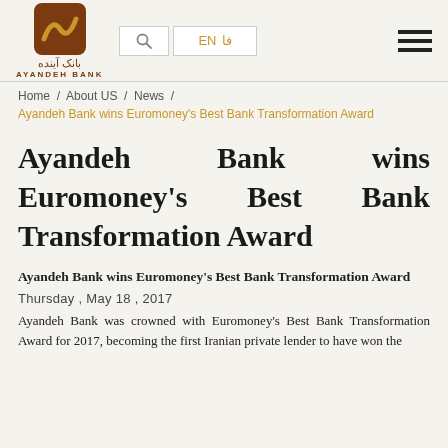[Figure (logo): Ayandeh Bank logo: brown square with gold wave, Persian text 'بانک آینده' and English 'AYANDEH BANK']
EN  فا  [search] [hamburger menu]
Home / About US / News /
Ayandeh Bank wins Euromoney's Best Bank Transformation Award
Ayandeh Bank wins Euromoney's Best Bank Transformation Award
Ayandeh Bank wins Euromoney's Best Bank Transformation Award
Thursday, May 18, 2017
Ayandeh Bank was crowned with Euromoney's Best Bank Transformation Award for 2017, becoming the first Iranian private lender to have won the